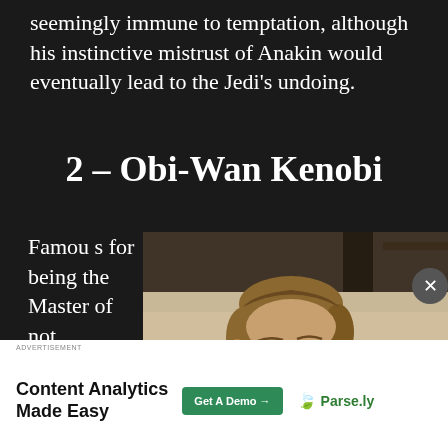seemingly immune to temptation, although his instinctive mistrust of Anakin would eventually lead to the Jedi's undoing.
2 – Obi-Wan Kenobi
Famous for being the Master of not
[Figure (photo): Photo of actor playing Obi-Wan Kenobi, a bearded man with medium-length hair looking to the side, in a beige robe, with a warm blurred background.]
ADVERTISEMENT
Content Analytics Made Easy
Get A Demo →
Parse.ly